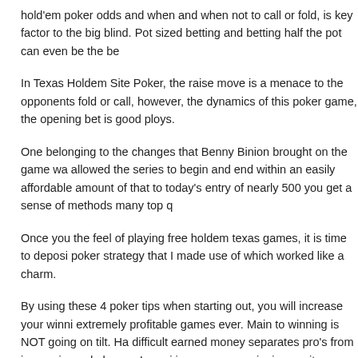hold'em poker odds and when and when not to call or fold, is key factor to the big blind. Pot sized betting and betting half the pot can even be the be
In Texas Holdem Site Poker, the raise move is a menace to the opponents fold or call, however, the dynamics of this poker game, the opening bet is good ploys.
One belonging to the changes that Benny Binion brought on the game wa allowed the series to begin and end within an easily affordable amount of that to today's entry of nearly 500 you get a sense of methods many top q
Once you the feel of playing free holdem texas games, it is time to deposi poker strategy that I made use of which worked like a charm.
By using these 4 poker tips when starting out, you will increase your winni extremely profitable games ever. Main to winning is NOT going on tilt. Ha difficult earned money separates pro's from inexperienced players. Learni increase your winnings quite possibly.
Filed Under: Uncategorized